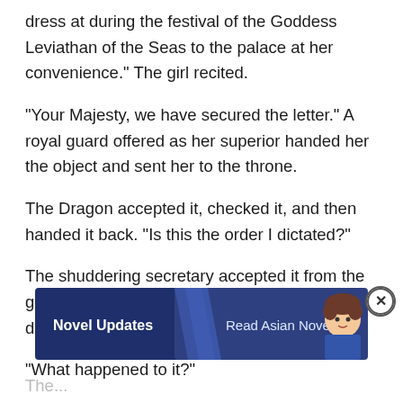dress at during the festival of the Goddess Leviathan of the Seas to the palace at her convenience." The girl recited.
"Your Majesty, we have secured the letter." A royal guard offered as her superior handed her the object and sent her to the throne.
The Dragon accepted it, checked it, and then handed it back. "Is this the order I dictated?"
The shuddering secretary accepted it from the guard. "Yes, it is the order your Majesty dictated."
"What happened to it?"
[Figure (screenshot): Advertisement banner for Novel Updates - Read Asian Novels with a close button]
"I hand..." (partial, obscured by ad)
The... (partial text at bottom)